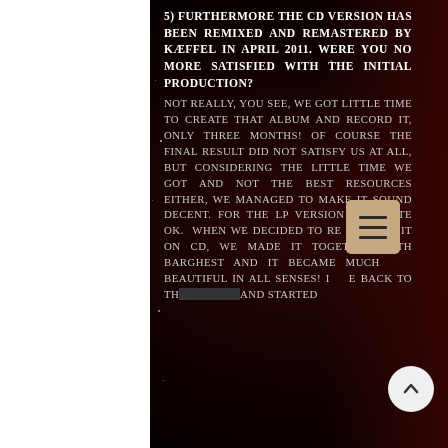5) Furthermore the CD version has been remixed and remastered by Kæffel in April 2011. Were you no more satisfied with the initial production?
Not really, you see, we got little time to create that album and record it, only three months! Of course the final result did not satisfy us at all, but considering the little time we got and not the best resources either, we managed to make it sound decent. For the LP version it's quite ok. When we decided to re release it on CD, we made it together with Barghest and it became much beautiful in all senses! I came back to th... and started